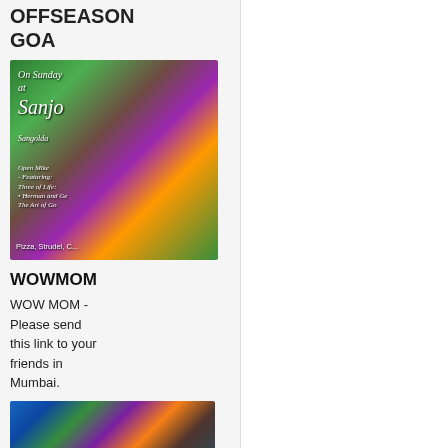OFFSEASON GOA
[Figure (illustration): Colorful illustrated event poster for 'On Sunday at Sangolda' with figures, tropical plants, and text including 'Open Mike', 'Featuring: Three of Life, Herman and...', 'The Art of Goa', 'Pizza, Strudel,...']
WOWMOM
WOW MOM - Please send this link to your friends in Mumbai.
[Figure (photo): Photo of colorful yarn balls in blue, green, teal, brown, and orange colors]
GOA Partner to Provide Free
Eye Screening Nationwide to Commercial Drivers: AllAfrica
GOOGLE AD: CLICK